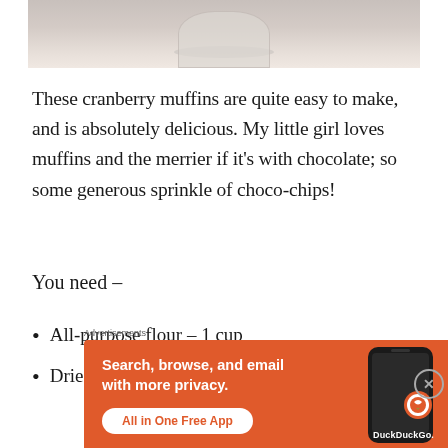[Figure (photo): Top portion of a food/drink photo showing a glass container on a light surface]
These cranberry muffins are quite easy to make, and is absolutely delicious. My little girl loves muffins and the merrier if it’s with chocolate; so some generous sprinkle of choco-chips!
You need –
All-purpose flour – 1 cup
Dried cranberries – ½ cup
[Figure (screenshot): DuckDuckGo advertisement banner: Search, browse, and email with more privacy. All in One Free App. Shows phone with DuckDuckGo logo.]